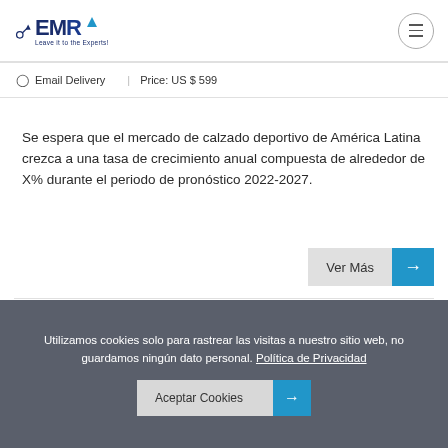EMR — Leave it to the Experts!
Email Delivery    Price: US $ 599
Se espera que el mercado de calzado deportivo de América Latina crezca a una tasa de crecimiento anual compuesta de alrededor de X% durante el periodo de pronóstico 2022-2027.
[Figure (screenshot): EMR report cover image thumbnail with blue and gray sections]
Utilizamos cookies solo para rastrear las visitas a nuestro sitio web, no guardamos ningún dato personal. Política de Privacidad